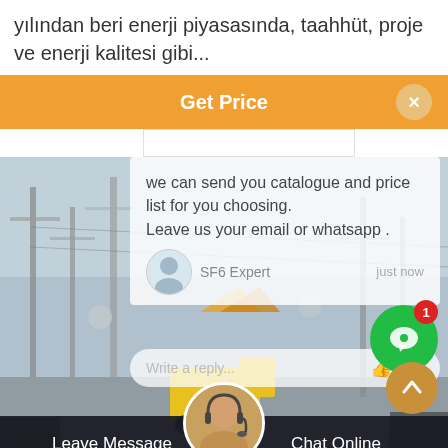yılından beri enerji piyasasında, taahhüt, proje ve enerji kalitesi gibi...
[Figure (screenshot): Orange 'Get Price' button bar with close button, overlaid chat popup on electrical substation photo background. Chat message: 'we can send you catalogue and price list for you choosing. Leave us your email or whatsapp.' with SF6 Expert label and 'just now' timestamp, reply input bar, green chat bubble with notification badge showing 1, scroll-to-top button, and bottom bar with 'Leave Message' and 'Chat Online' options and agent avatar.]